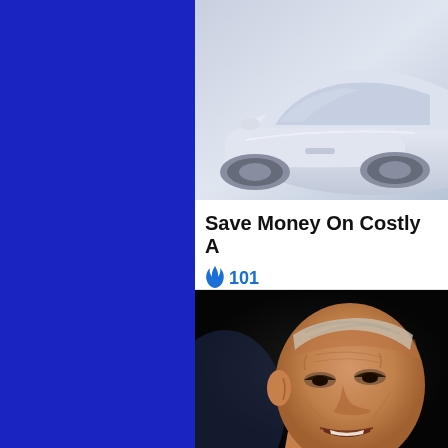[Figure (illustration): Blue sidebar background taking up the left ~40% of the page]
[Figure (illustration): Illustration of a white car (partial view, front/side panel visible) on a light blue-grey gradient background]
Save Money On Costly A
🔥 101
[Figure (photo): Close-up photo of an elderly man's face (Joe Biden) against a dark background]